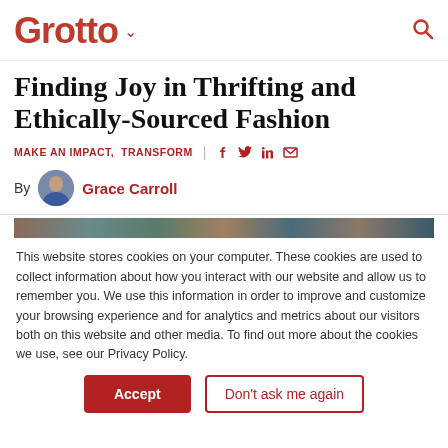Grotto
Finding Joy in Thrifting and Ethically-Sourced Fashion
MAKE AN IMPACT,  TRANSFORM
By Grace Carroll
[Figure (photo): Partial image strip showing a clothing rack or thrift store scene]
This website stores cookies on your computer. These cookies are used to collect information about how you interact with our website and allow us to remember you. We use this information in order to improve and customize your browsing experience and for analytics and metrics about our visitors both on this website and other media. To find out more about the cookies we use, see our Privacy Policy.
Accept | Don't ask me again